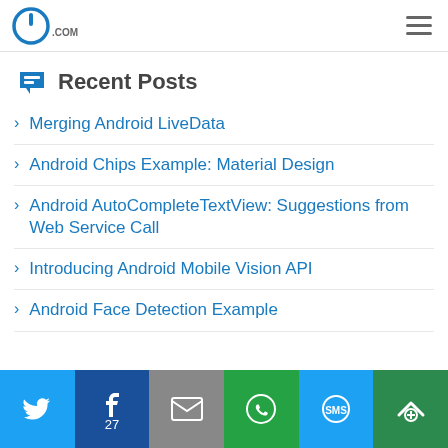logo and navigation
Recent Posts
Merging Android LiveData
Android Chips Example: Material Design
Android AutoCompleteTextView: Suggestions from Web Service Call
Introducing Android Mobile Vision API
Android Face Detection Example
Privacy & Cookies: This site uses cookies. By continuing to use this website, you agree to their use. To find out more, including how to control cookies, see here: Cookie Policy